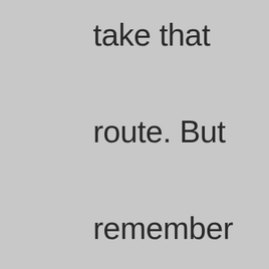take that route. But remember to keep in mind the one-year filing